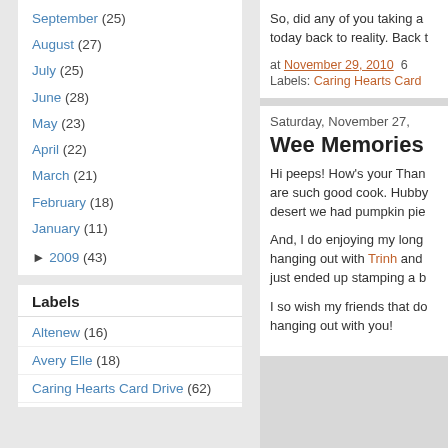September (25)
August (27)
July (25)
June (28)
May (23)
April (22)
March (21)
February (18)
January (11)
► 2009 (43)
Labels
Altenew (16)
Avery Elle (18)
Caring Hearts Card Drive (62)
So, did any of you taking a today back to reality. Back t
at November 29, 2010   6
Labels: Caring Hearts Card
Saturday, November 27,
Wee Memories
Hi peeps! How's your Than are such good cook. Hubby desert we had pumpkin pie
And, I do enjoying my long hanging out with Trinh and just ended up stamping a b
I so wish my friends that do hanging out with you!